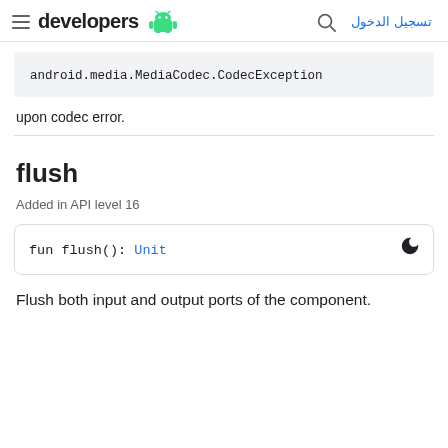developers [android logo] | [search] تسجيل الدخول
android.media.MediaCodec.CodecException
upon codec error.
flush
Added in API level 16
fun flush(): Unit
Flush both input and output ports of the component.